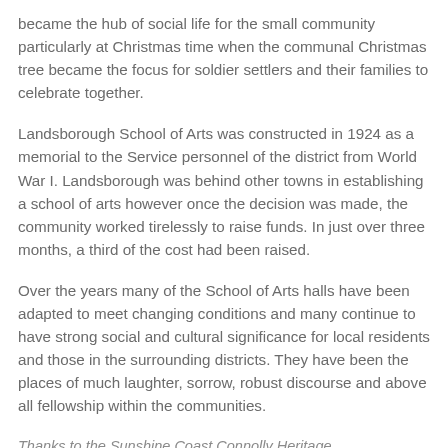became the hub of social life for the small community particularly at Christmas time when the communal Christmas tree became the focus for soldier settlers and their families to celebrate together.
Landsborough School of Arts was constructed in 1924 as a memorial to the Service personnel of the district from World War I. Landsborough was behind other towns in establishing a school of arts however once the decision was made, the community worked tirelessly to raise funds. In just over three months, a third of the cost had been raised.
Over the years many of the School of Arts halls have been adapted to meet changing conditions and many continue to have strong social and cultural significance for local residents and those in the surrounding districts. They have been the places of much laughter, sorrow, robust discourse and above all fellowship within the communities.
Thanks to the Sunshine Coast Connolly Heritage…